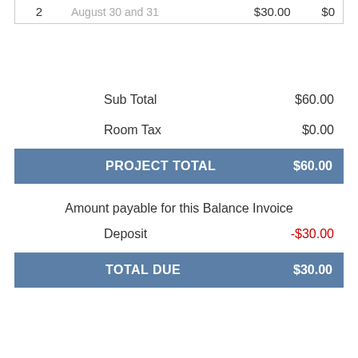| # | Description | Amount |  |
| --- | --- | --- | --- |
| 2 | August 30 and 31 | $30.00 | $0 |
Sub Total $60.00
Room Tax $0.00
| PROJECT TOTAL | $60.00 |
| --- | --- |
Amount payable for this Balance Invoice
Deposit -$30.00
| TOTAL DUE | $30.00 |
| --- | --- |